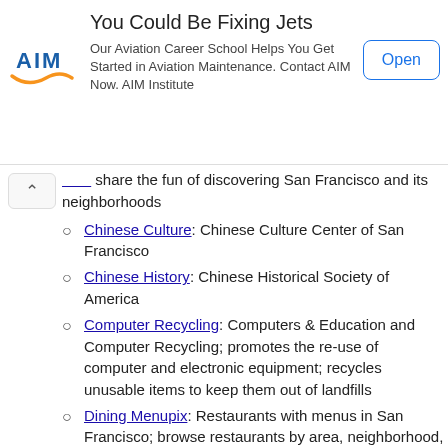[Figure (other): Advertisement banner for AIM Institute aviation career school with logo, title 'You Could Be Fixing Jets', description text, and Open button]
share the fun of discovering San Francisco and its neighborhoods
Chinese Culture: Chinese Culture Center of San Francisco
Chinese History: Chinese Historical Society of America
Computer Recycling: Computers & Education and Computer Recycling; promotes the re-use of computer and electronic equipment; recycles unusable items to keep them out of landfills
Dining Menupix: Restaurants with menus in San Francisco; browse restaurants by area, neighborhood, cuisine, delivery, etc.
Dog: San Francisco Dog Owner's Group
Film Society: San Francisco Film Society; arts and educational organization dedicated to celebrating international film and the moving image
French: Alliance Française San Francisco; French language and culture organization in San Francisco